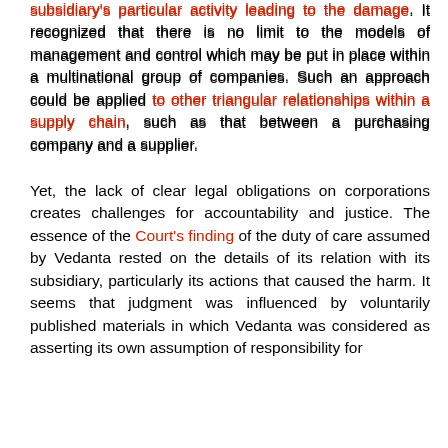subsidiary's particular activity leading to the damage. It recognized that there is no limit to the models of management and control which may be put in place within a multinational group of companies. Such an approach could be applied to other triangular relationships within a supply chain, such as that between a purchasing company and a supplier.

Yet, the lack of clear legal obligations on corporations creates challenges for accountability and justice. The essence of the Court's finding of the duty of care assumed by Vedanta rested on the details of its relation with its subsidiary, particularly its actions that caused the harm. It seems that judgment was influenced by voluntarily published materials in which Vedanta was considered as asserting its own assumption of responsibility for